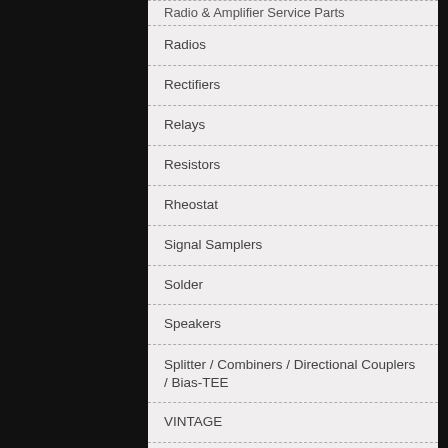Radio & Amplifier Service Parts
Radios
Rectifiers
Relays
Resistors
Rheostat
Signal Samplers
Solder
Speakers
Splitter / Combiners / Directional Couplers / Bias-TEE
VINTAGE
Switches
Terminal Strips
Tools
Transformers
Transistors - RF, Mosfets, Misc.